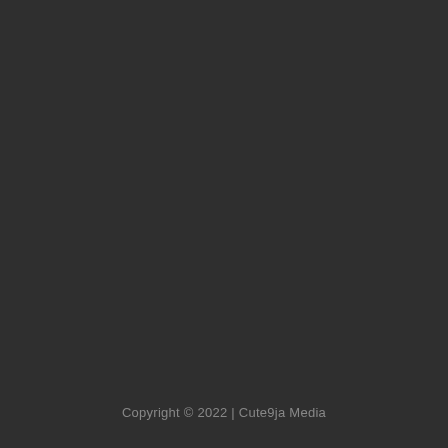Copyright © 2022 | Cute9ja Media